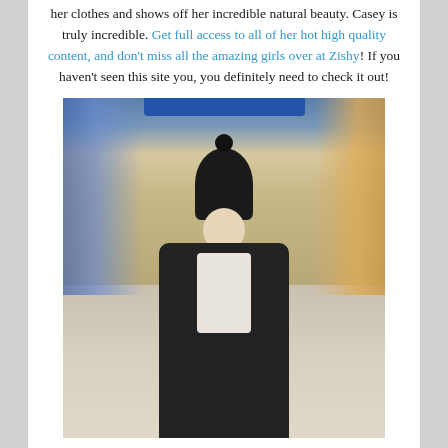her clothes and shows off her incredible natural beauty. Casey is truly incredible. Get full access to all of her hot high quality content, and don't miss all the amazing girls over at Zishy! If you haven't seen this site you, you definitely need to check it out!
[Figure (photo): A young blonde woman wearing a black knit beanie with a pom-pom and a long dark coat over a white shirt, standing in what appears to be a shopping mall corridor with store shelves visible in the background.]